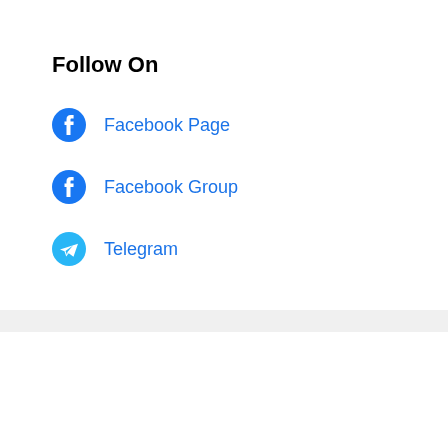Follow On
Facebook Page
Facebook Group
Telegram